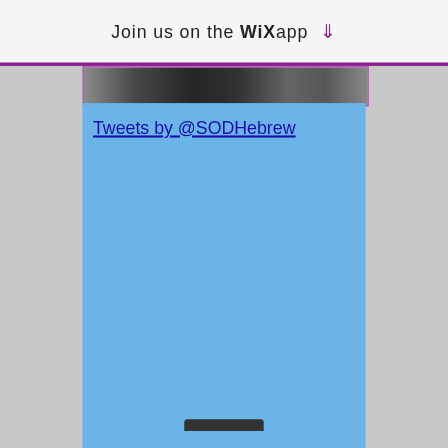Join us on the WiX app ↓
[Figure (photo): Partial photo strip visible at top of content area, showing dark figures/people, bordered with purple]
Tweets by @SODHebrew